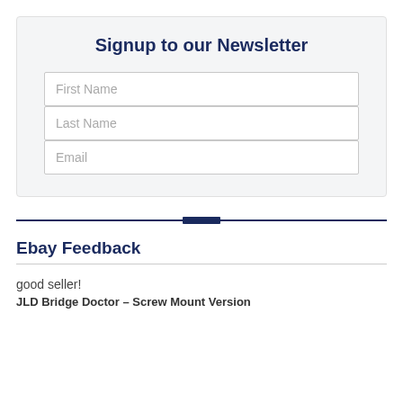Signup to our Newsletter
First Name
Last Name
Email
[Figure (other): Horizontal decorative divider with a small rectangular emblem in the center, dark navy blue color]
Ebay Feedback
good seller!
JLD Bridge Doctor – Screw Mount Version